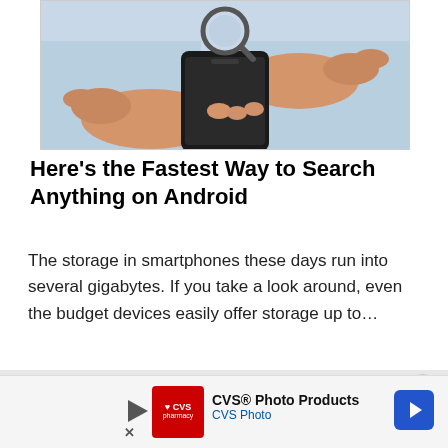[Figure (photo): Hands holding a black smartphone with a magnifying glass on top, person wearing light blue shirt]
Here's the Fastest Way to Search Anything on Android
The storage in smartphones these days run into several gigabytes. If you take a look around, even the budget devices easily offer storage up to...
[Figure (screenshot): CVS Photo Products advertisement banner with CVS pharmacy logo and navigation arrow icon]